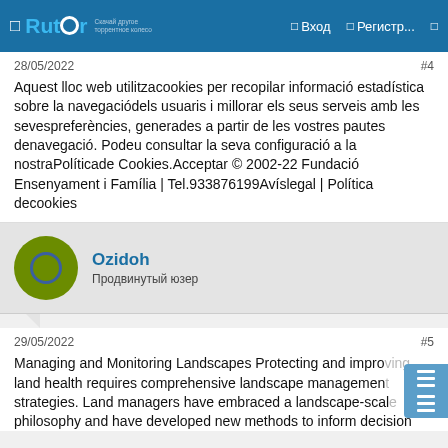Rutor | Вход | Регистр...
28/05/2022   #4
Aquest lloc web utilitzacookies per recopilar informació estadística sobre la navegaciódels usuaris i millorar els seus serveis amb les sevespreferències, generades a partir de les vostres pautes denavegació. Podeu consultar la seva configuració a la nostraPolíticade Cookies.Acceptar © 2002-22 Fundació Ensenyament i Família | Tel.933876199Avíslegal | Política decookies
Ozidoh
Продвинутый юзер
29/05/2022   #5
Managing and Monitoring Landscapes Protecting and improving land health requires comprehensive landscape management strategies. Land managers have embraced a landscape-scale philosophy and have developed new methods to inform decision